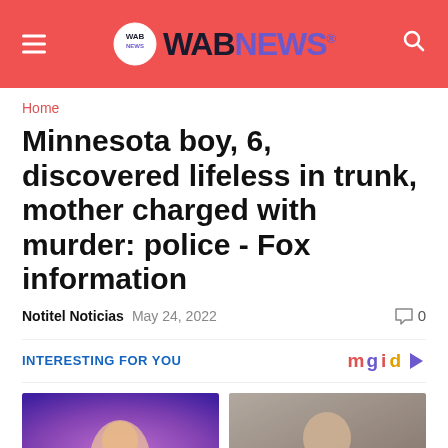WAB NEWS
Home
Minnesota boy, 6, discovered lifeless in trunk, mother charged with murder: police - Fox information
Notitel Noticias  May 24, 2022   0
INTERESTING FOR YOU
[Figure (photo): Two thumbnail images: left shows a woman performer on stage with purple lighting, right shows a bald man in a suit indoors.]